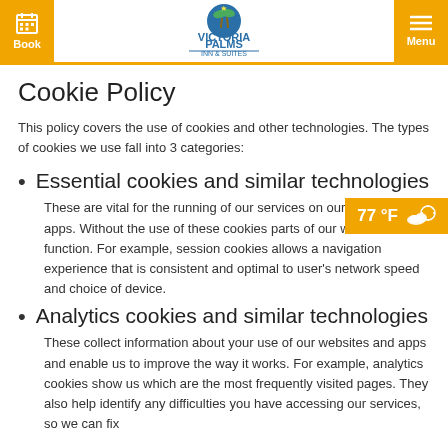Book | Victoria Palms Inn & Suites | Menu
Cookie Policy
This policy covers the use of cookies and other technologies. The types of cookies we use fall into 3 categories:
Essential cookies and similar technologies
These are vital for the running of our services on our websites and apps. Without the use of these cookies parts of our website function. For example, session cookies allows a navigation experience that is consistent and optimal to user's network speed and choice of device.
Analytics cookies and similar technologies
These collect information about your use of our websites and apps and enable us to improve the way it works. For example, analytics cookies show us which are the most frequently visited pages. They also help identify any difficulties you have accessing our services, so we can fix